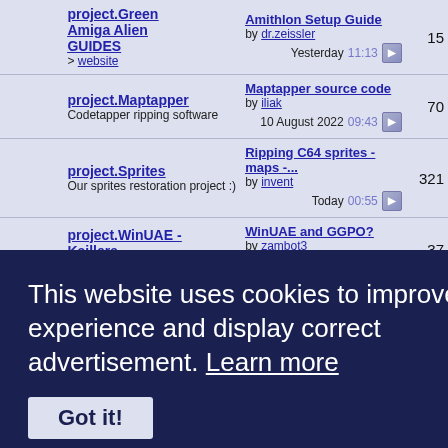| Icon | Project | Last Post | Count |
| --- | --- | --- | --- |
| [icon] | project.Green Amiga Alien GUIDES
> website | Amithlon Setup Guide
by dr.zeissler
Yesterday 11:13 | 15 |
| [icon] | project.Maptapper
Codetapper ripping software | Maptapper source code
by iliak
10 August 2022 09:43 | 70 |
| [icon] | project.Sprites
Our sprites restoration project :) | Ripping C64 sprites - maps -...
by invent
Today 00:55 | 321 |
| [icon] | project.WinUAE - Kaillera
> website | WinUAE and GGPO?
by zambot3
31 October 2019 00:33 | 37 |
This website uses cookies to improve user experience and display correct advertisement. Learn more
Got it!
| Icon | Project | Last Post | Count |
| --- | --- | --- | --- |
| [icon] | Demo DVD
A collection of game intro's and scene demos, preserved on DVD Video for all to see. | DemoDVD Download From HERE
by Billpcat
19 September 2020 ... | 41 |